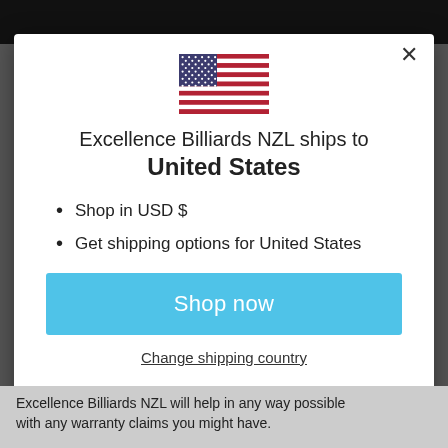[Figure (screenshot): US flag SVG shown in modal dialog]
Excellence Billiards NZL ships to United States
Shop in USD $
Get shipping options for United States
Shop now
Change shipping country
Excellence Billiards NZL will help in any way possible with any warranty claims you might have.